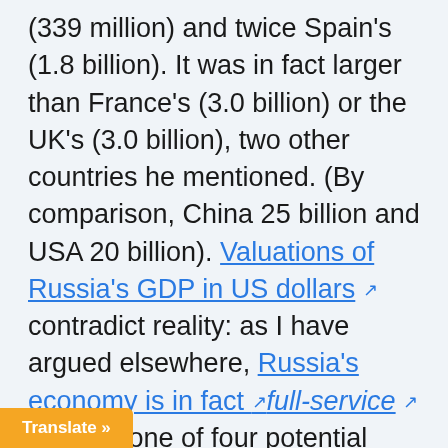(339 million) and twice Spain's (1.8 billion). It was in fact larger than France's (3.0 billion) or the UK's (3.0 billion), two other countries he mentioned. (By comparison, China 25 billion and USA 20 billion). Valuations of Russia's GDP in US dollars ↗ contradict reality: as I have argued elsewhere, Russia's economy is in fact ↗full-service ↗ and it is one of four potential autarkies on the planet. And, the way things are going, it won't be any less so: as Awara points [out…]